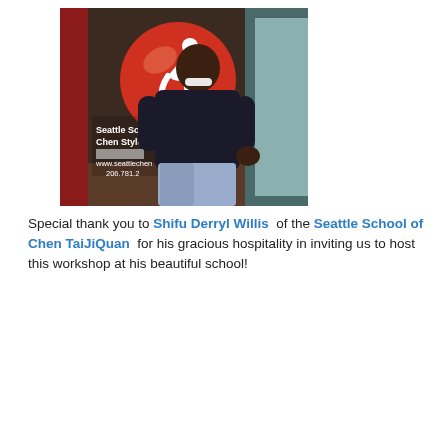[Figure (photo): A smiling man standing in a doorway in front of a sign reading 'Seattle School of Chen Style Tai...' with a large red circle logo featuring a white running figure. The sign also shows 'www.seattleChen...' and '206.781.2...'. He is wearing a dark polo shirt and light pants.]
Special thank you to Shifu Derryl Willis of the Seattle School of Chen TaiJiQuan for his gracious hospitality in inviting us to host this workshop at his beautiful school!